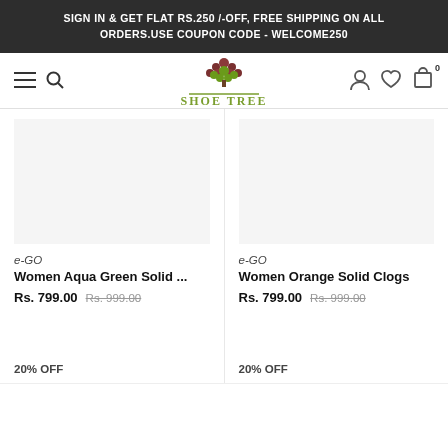SIGN IN & GET FLAT RS.250 /-OFF, FREE SHIPPING ON ALL ORDERS.USE COUPON CODE - WELCOME250
[Figure (logo): Shoe Tree logo with a decorative tree illustration above the text SHOE TREE in olive green]
e-GO
Women Aqua Green Solid ...
Rs. 799.00 Rs. 999.00
20% OFF
e-GO
Women Orange Solid Clogs
Rs. 799.00 Rs. 999.00
20% OFF